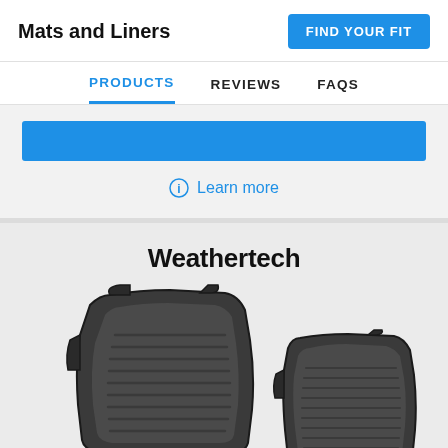Mats and Liners
FIND YOUR FIT
PRODUCTS  REVIEWS  FAQS
[Figure (other): Blue CTA button bar]
Learn more
Weathertech
[Figure (photo): Two black Weathertech floor mats (driver and passenger side) with raised edges and anti-skid texture, photographed on a white/light grey background]